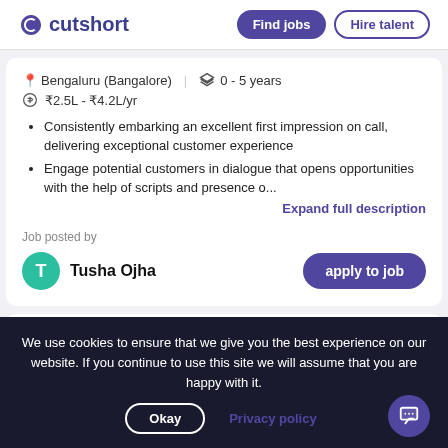cutshort | Find jobs | Hire talent
Bengaluru (Bangalore)  0 - 5 years  ₹2.5L - ₹4.2L/yr
Consistently embarking an excellent first impression on call, delivering exceptional customer experience
Engage potential customers in dialogue that opens opportunities with the help of scripts and presence o...
Expand full description
Job posted by
Tusha Ojha
apply to job
We use cookies to ensure that we give you the best experience on our website. If you continue to use this site we will assume that you are happy with it.
Okay  Privacy policy